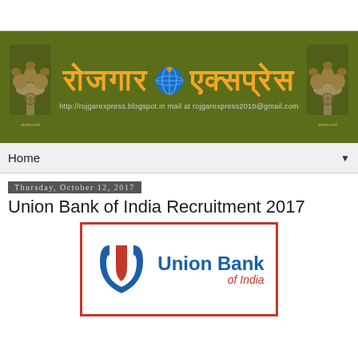[Figure (logo): Rojgar Express blog banner with olive green background, Ashoka Emblem on both sides, Hindi text 'Rojgar Express' in orange, globe icon in center, blog URL below]
Home ▼
Thursday, October 12, 2017
Union Bank of India Recruitment 2017
[Figure (logo): Union Bank of India logo: blue and red stylized U letter mark on left, 'Union Bank of India' text in blue and red on white background, surrounded by red border rectangle]